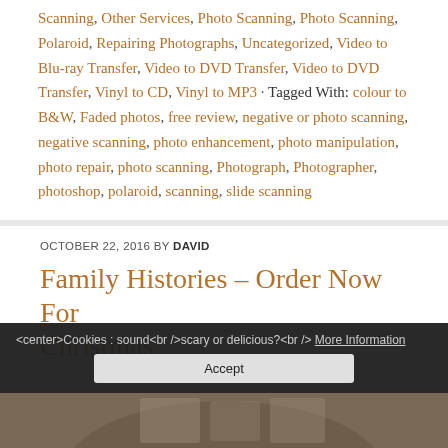Scanning, Other Services, Photo Scanning, Photo Scanning, Polaroid, Repairing Photographs, Uncategorized, Video to Blu-ray Transfer, Video to DVD Transfer, Video to DVD Transfer, Vinyl to CD, Vinyl to MP3 · Tagged With: colour to B&W, Faded photos, free review, negative or photo scanning, negative scanning, photo enhancement, photo manipulation, photo repair, photo scanning, Photograph, Photographer, photoshop, polaroid, scanning, slide scanning
OCTOBER 22, 2016 BY DAVID
Family Histories – Order Now For Christmas
<center>Cookies : sound<br />scary or delicious?<br /> More Information Accept